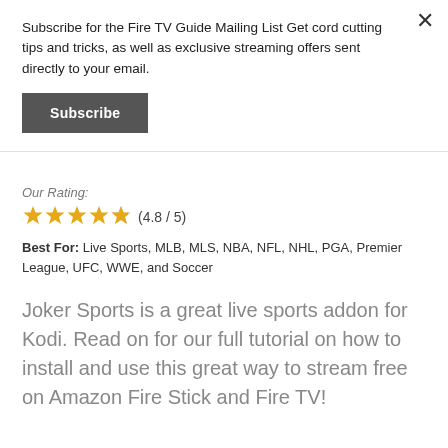Subscribe for the Fire TV Guide Mailing List Get cord cutting tips and tricks, as well as exclusive streaming offers sent directly to your email.
Subscribe
Our Rating:
(4.8 / 5)
Best For: Live Sports, MLB, MLS, NBA, NFL, NHL, PGA, Premier League, UFC, WWE, and Soccer
Joker Sports is a great live sports addon for Kodi. Read on for our full tutorial on how to install and use this great way to stream free on Amazon Fire Stick and Fire TV!